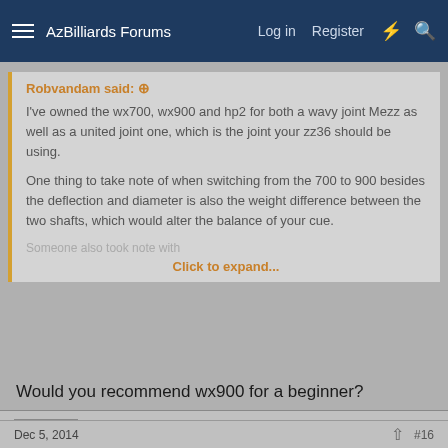AzBilliards Forums  Log in  Register
Robvandam said: ⊕

I've owned the wx700, wx900 and hp2 for both a wavy joint Mezz as well as a united joint one, which is the joint your zz36 should be using.

One thing to take note of when switching from the 700 to 900 besides the deflection and diameter is also the weight difference between the two shafts, which would alter the balance of your cue.

Click to expand...
Would you recommend wx900 for a beginner?
Robvandam
PooOooL
Dec 5, 2014  #16